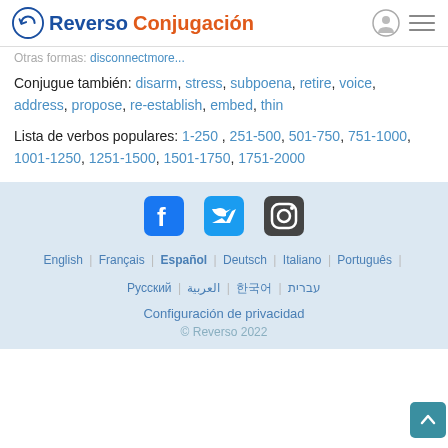Reverso Conjugación
Otras formas: disconnectmoretext
Conjugue también: disarm, stress, subpoena, retire, voice, address, propose, re-establish, embed, thin
Lista de verbos populares: 1-250, 251-500, 501-750, 751-1000, 1001-1250, 1251-1500, 1501-1750, 1751-2000
[Figure (logo): Social media icons: Facebook, Twitter, Instagram]
English | Français | Español | Deutsch | Italiano | Português | Русский | العربية | 한국어 | עברית
Configuración de privacidad
© Reverso 2022